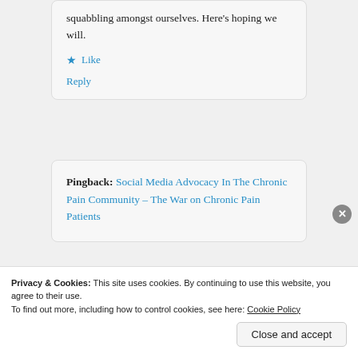squabbling amongst ourselves. Here's hoping we will.
Like
Reply
Pingback: Social Media Advocacy In The Chronic Pain Community – The War on Chronic Pain Patients
Pingback: (partial, cut off)
Privacy & Cookies: This site uses cookies. By continuing to use this website, you agree to their use.
To find out more, including how to control cookies, see here: Cookie Policy
Close and accept